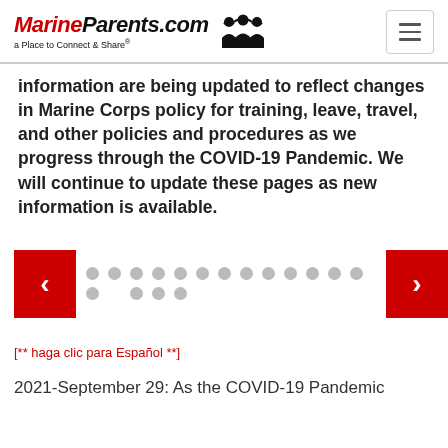MarineParents.com — a Place to Connect & Share®
information are being updated to reflect changes in Marine Corps policy for training, leave, travel, and other policies and procedures as we progress through the COVID-19 Pandemic. We will continue to update these pages as new information is available.
[Figure (other): Carousel navigation with left and right red arrow buttons and multiple dot indicators]
[** haga clic para Español **]
2021-September 29: As the COVID-19 Pandemic